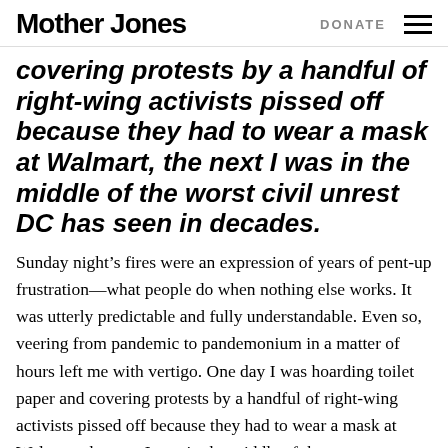Mother Jones | DONATE
covering protests by a handful of right-wing activists pissed off because they had to wear a mask at Walmart, the next I was in the middle of the worst civil unrest DC has seen in decades.
Sunday night’s fires were an expression of years of pent-up frustration—what people do when nothing else works. It was utterly predictable and fully understandable. Even so, veering from pandemic to pandemonium in a matter of hours left me with vertigo. One day I was hoarding toilet paper and covering protests by a handful of right-wing activists pissed off because they had to wear a mask at Walmart, the next I was in the middle of the worst